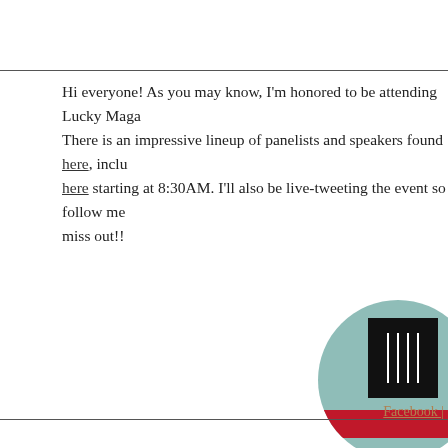Hi everyone! As you may know, I'm honored to be attending Lucky Maga... There is an impressive lineup of panelists and speakers found here, inclu... here starting at 8:30AM. I'll also be live-tweeting the event so follow me... miss out!!
[Figure (illustration): Circular badge with teal/mint background, dark inner panel with vertical lines or text, and a red banner bar across the lower portion of the circle]
Facebook |